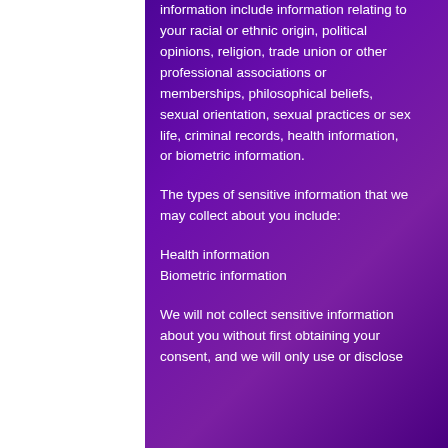information include information relating to your racial or ethnic origin, political opinions, religion, trade union or other professional associations or memberships, philosophical beliefs, sexual orientation, sexual practices or sex life, criminal records, health information, or biometric information.
The types of sensitive information that we may collect about you include:
Health information
Biometric information
We will not collect sensitive information about you without first obtaining your consent, and we will only use or disclose